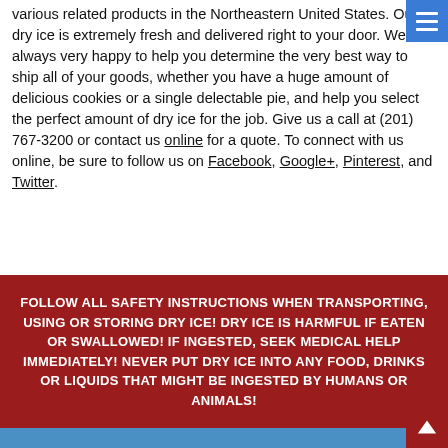various related products in the Northeastern United States. Our dry ice is extremely fresh and delivered right to your door. We are always very happy to help you determine the very best way to ship all of your goods, whether you have a huge amount of delicious cookies or a single delectable pie, and help you select the perfect amount of dry ice for the job. Give us a call at (201) 767-3200 or contact us online for a quote. To connect with us online, be sure to follow us on Facebook, Google+, Pinterest, and Twitter.
FOLLOW ALL SAFETY INSTRUCTIONS WHEN TRANSPORTING, USING OR STORING DRY ICE! DRY ICE IS HARMFUL IF EATEN OR SWALLOWED! IF INGESTED, SEEK MEDICAL HELP IMMEDIATELY! NEVER PUT DRY ICE INTO ANY FOOD, DRINKS OR LIQUIDS THAT MIGHT BE INGESTED BY HUMANS OR ANIMALS!